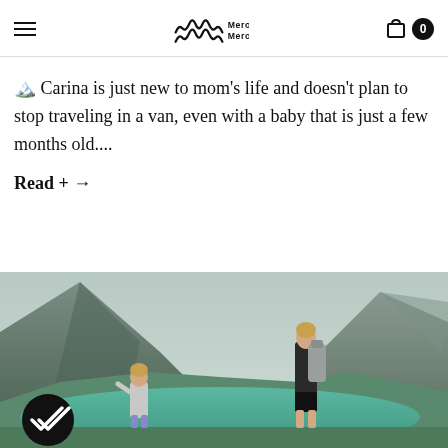Mero Mero — navigation header with hamburger menu, logo, and cart (0 items)
🏔️ Carina is just new to mom's life and doesn't plan to stop traveling in a van, even with a baby that is just a few months old....
Read + →
[Figure (photo): Woman with grey backpack and child standing by a turquoise mountain lake with rocky mountains in the background. A dark circular badge with a double-checkmark is visible in the lower left.]